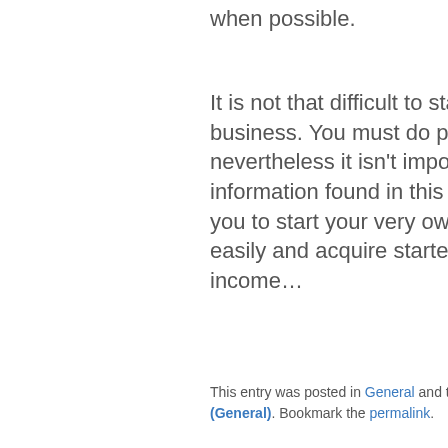when possible.
It is not that difficult to start your home business. You must do perseverance, nevertheless it isn't impossible. The information found in this post will assist you to start your very own business easily and acquire started earning some income...
This entry was posted in General and tagged Business (General). Bookmark the permalink.